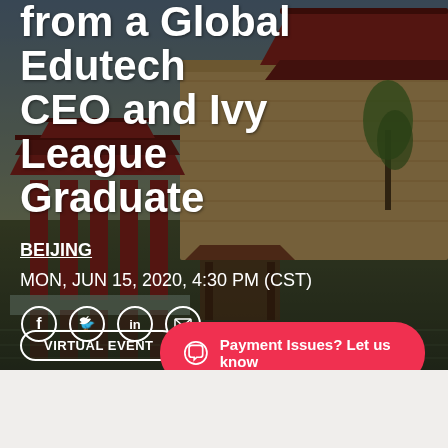from a Global Edutech CEO and Ivy League Graduate
BEIJING
MON, JUN 15, 2020, 4:30 PM (CST)
[Figure (infographic): Social media share icons: Facebook, Twitter, LinkedIn, Email — white circle outlines on dark background]
VIRTUAL EVENT
Payment Issues? Let us know